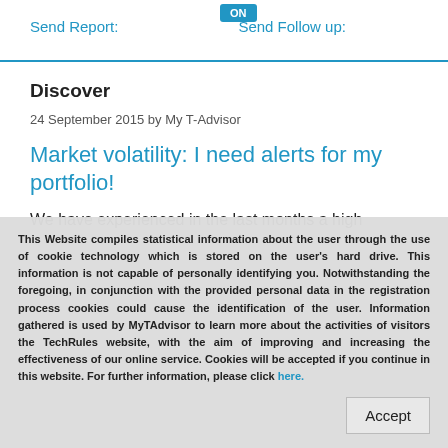Send Report:    Send Follow up:
Discover
24 September 2015 by My T-Advisor
Market volatility: I need alerts for my portfolio!
We have experienced in the last months a high
This Website compiles statistical information about the user through the use of cookie technology which is stored on the user's hard drive. This information is not capable of personally identifying you. Notwithstanding the foregoing, in conjunction with the provided personal data in the registration process cookies could cause the identification of the user. Information gathered is used by MyTAdvisor to learn more about the activities of visitors the TechRules website, with the aim of improving and increasing the effectiveness of our online service. Cookies will be accepted if you continue in this website. For further information, please click here.